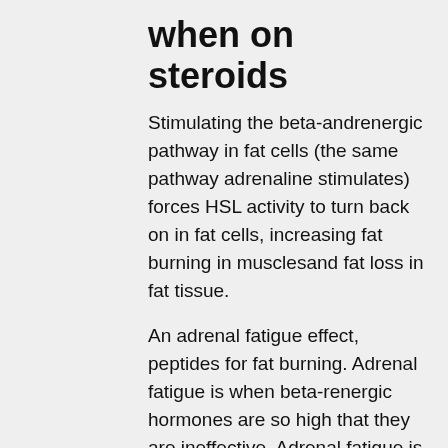when on steroids
Stimulating the beta-andrenergic pathway in fat cells (the same pathway adrenaline stimulates) forces HSL activity to turn back on in fat cells, increasing fat burning in musclesand fat loss in fat tissue.
An adrenal fatigue effect, peptides for fat burning. Adrenal fatigue is when beta-renergic hormones are so high that they are ineffective. Adrenal fatigue is caused by a deficiency of adrenal hormones produced in the adrenal glands, how to lose weight fast while on prednisone.
What does this explain?
An adrenal fatigue effect may explain why I felt so good but my body was so sluggish from my high volume training, peptides burning fat for. When cortisol is